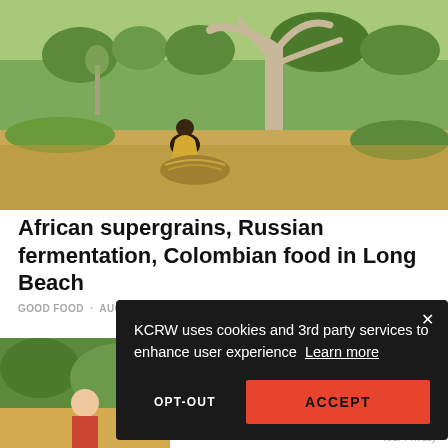[Figure (photo): A person bending down gathering dry grass/grain in an African savanna landscape with a large baobab-like tree and green vegetation in the background]
African supergrains, Russian fermentation, Colombian food in Long Beach
GOOD FOOD · AUG 17, 2022
[Figure (photo): Partial view of a second article photo showing green foliage and what appears to be a person]
KCRW uses cookies and 3rd party services to enhance user experience  Learn more
OPT-OUT    ACCEPT
Your Privacy